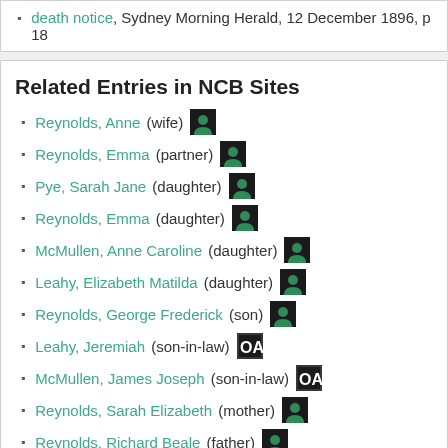death notice, Sydney Morning Herald, 12 December 1896, p 18
Related Entries in NCB Sites
Reynolds, Anne (wife)
Reynolds, Emma (partner)
Pye, Sarah Jane (daughter)
Reynolds, Emma (daughter)
McMullen, Anne Caroline (daughter)
Leahy, Elizabeth Matilda (daughter)
Reynolds, George Frederick (son)
Leahy, Jeremiah (son-in-law)
McMullen, James Joseph (son-in-law)
Reynolds, Sarah Elizabeth (mother)
Reynolds, Richard Beale (father)
Gosper, Hannah Beale (sister)